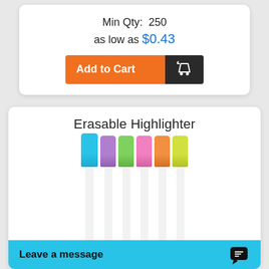Min Qty:  250
as low as $0.43
[Figure (illustration): Add to Cart button with orange left section and dark right section containing a shopping cart icon]
Erasable Highlighter
[Figure (photo): Six erasable highlighters with white barrels and colored caps: blue, purple, green, pink, orange, yellow-green]
Leave a message